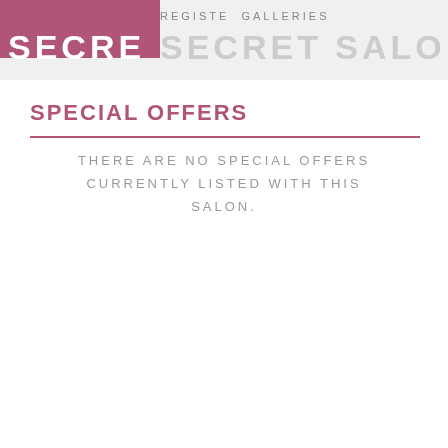REGISTE GALLERIES / SECRET SALONS
SPECIAL OFFERS
THERE ARE NO SPECIAL OFFERS CURRENTLY LISTED WITH THIS SALON.
Best Facial Ashburn, Virginia - Book an Appointment Today
Ad https://www.soloestheticsandskinspa.com/
New patients save 20% on ALL services including facials, microneedling, dermaplaning and. more! Solo Esthetics is proud to have...
Riverside Cmns Plz, Ashburn
Call (301) 676-9529